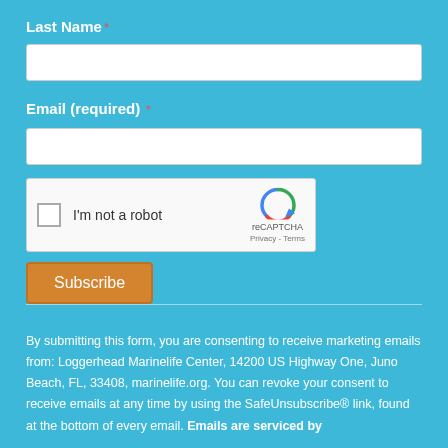Last Name *
[Figure (screenshot): Text input field for Last Name (empty, white background)]
Email (required) *
[Figure (screenshot): Text input field for Email (empty, white background)]
[Figure (screenshot): reCAPTCHA widget with checkbox labeled 'I'm not a robot' and reCAPTCHA logo with Privacy - Terms links]
[Figure (screenshot): Subscribe button (orange/golden color)]
By submitting this form, you are consenting to receive marketing emails from: Loggerhead Marinelife Center, 14200 US Highway One, Juno Beach, FL, 33408, marinelife.org. You can revoke your consent to receive emails at any time by using the SafeUnsubscribe® link, found at the bottom of every email. Emails are serviced by